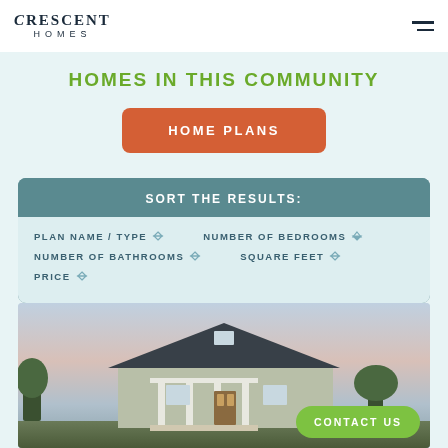Crescent Homes
HOMES IN THIS COMMUNITY
HOME PLANS
SORT THE RESULTS: PLAN NAME / TYPE | NUMBER OF BEDROOMS | NUMBER OF BATHROOMS | SQUARE FEET | PRICE
[Figure (photo): Exterior photograph of a Crescent Homes house with gray siding, dark roof, white columns on the porch, at dusk with colorful sky]
CONTACT US